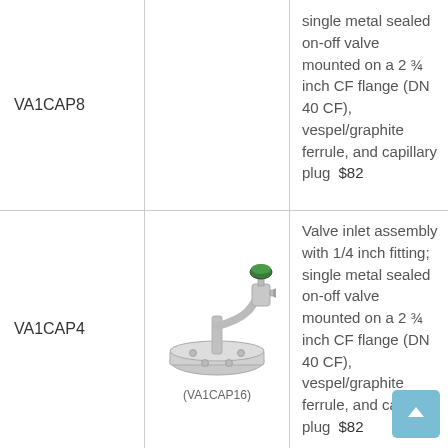| Part Number | Image | Description | Price |
| --- | --- | --- | --- |
| VA1CAP8 |  | single metal sealed on-off valve mounted on a 2 ¾ inch CF flange (DN 40 CF), vespel/graphite ferrule, and capillary plug | $82 |
| VA1CAP4 | (VA1CAP16) | Valve inlet assembly with 1/4 inch fitting; single metal sealed on-off valve mounted on a 2 ¾ inch CF flange (DN 40 CF), vespel/graphite ferrule, and capillary plug | $82 |
[Figure (photo): Photo of VA1CAP16 valve inlet assembly - a metal flange with a valve and green knob, with tubing fitting.]
(VA1CAP16)